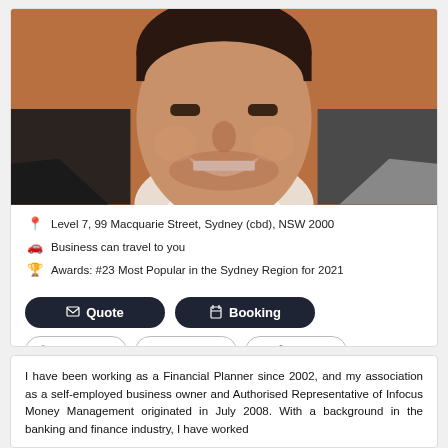[Figure (photo): Professional headshot of a smiling man in a suit with a warm brown/orange background]
Level 7, 99 Macquarie Street, Sydney (cbd), NSW 2000
Business can travel to you
Awards: #23 Most Popular in the Sydney Region for 2021
Quote  Booking
Contact me  Email  www
I have been working as a Financial Planner since 2002, and my association as a self-employed business owner and Authorised Representative of Infocus Money Management originated in July 2008. With a background in the banking and finance industry, I have worked